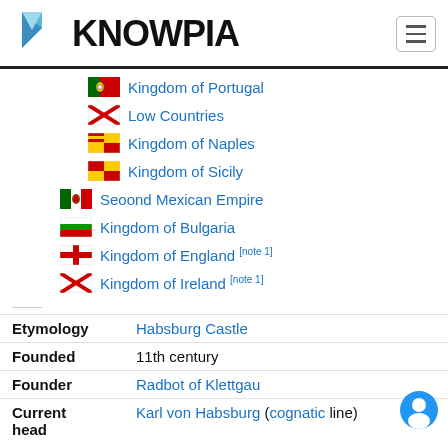KNOWPIA
Kingdom of Portugal
Low Countries
Kingdom of Naples
Kingdom of Sicily
Second Mexican Empire
Kingdom of Bulgaria
Kingdom of England [note 1]
Kingdom of Ireland [note 1]
| Field | Value |
| --- | --- |
| Etymology | Habsburg Castle |
| Founded | 11th century |
| Founder | Radbot of Klettgau |
| Current head | Karl von Habsburg (cognatic line) |